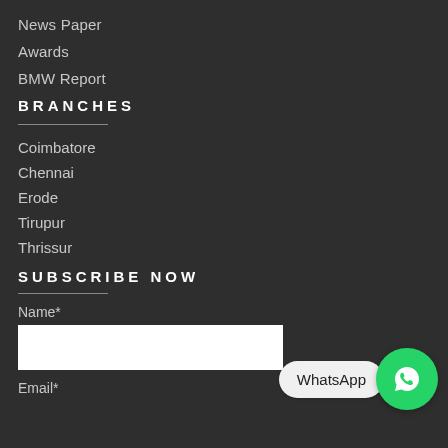News Paper
Awards
BMW Report
BRANCHES
Coimbatore
Chennai
Erode
Tirupur
Thrissur
SUBSCRIBE NOW
Name*
Email*
[Figure (other): WhatsApp contact button with speech bubble showing 'WhatsApp' text and green WhatsApp icon circle]